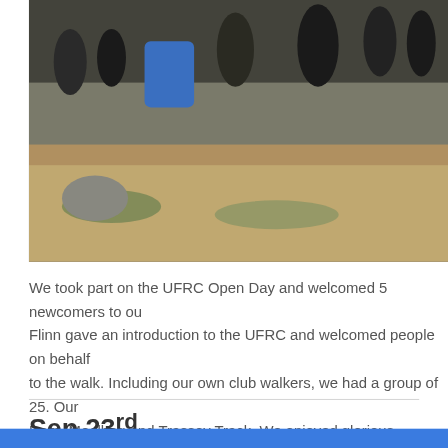[Figure (photo): Group of hikers/walkers resting on rocky terrain outdoors, with blue backpacks visible, green grass and earth tones in background]
We took part on the UFRC Open Day and welcomed 5 newcomers to our club. Flinn gave an introduction to the UFRC and welcomed people on behalf of to the walk. Including our own club walkers, we had a group of 25. Our w Dam, Meelbeg and Trassey Track. We enjoyed glorious sunshine and gr and expressed their gratitude for the warm welcome and enjoyable hike.
Sep 23rd
Shelter Stone
There were 18 walkers at Trassey car park. We ascended to the Hare's
POWERED BY weebly